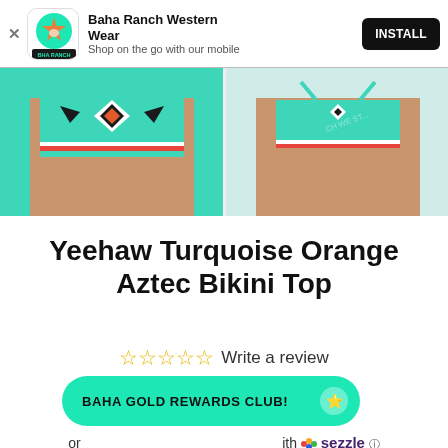Baha Ranch Western Wear — Shop on the go with our mobile — INSTALL
[Figure (photo): Two photos of a woman wearing a turquoise and orange Aztec-print bikini top — front and back views]
Yeehaw Turquoise Orange Aztec Bikini Top
☆ ☆ ☆ ☆ ☆  Write a review
BAHA GOLD REWARDS CLUB!
or … with 🟠 sezzle ⓘ Pay in 4 interest-free installments for orders over $50 with shop Pay  Learn more